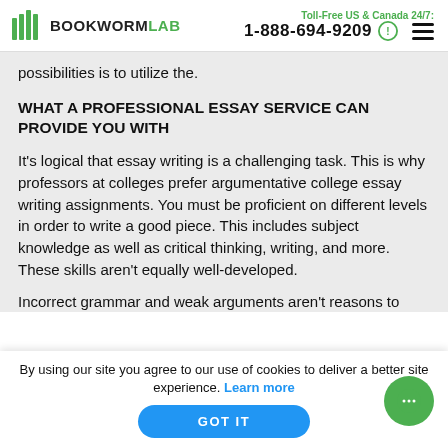BOOKWORMLAB | Toll-Free US & Canada 24/7: 1-888-694-9209
possibilities is to utilize the.
WHAT A PROFESSIONAL ESSAY SERVICE CAN PROVIDE YOU WITH
It's logical that essay writing is a challenging task. This is why professors at colleges prefer argumentative college essay writing assignments. You must be proficient on different levels in order to write a good piece. This includes subject knowledge as well as critical thinking, writing, and more. These skills aren't equally well-developed.
Incorrect grammar and weak arguments aren't reasons to
By using our site you agree to our use of cookies to deliver a better site experience. Learn more